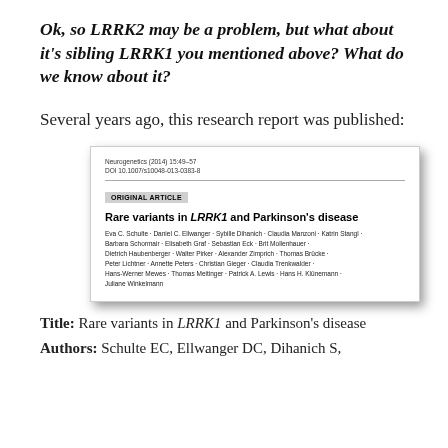Ok, so LRRK2 may be a problem, but what about it's sibling LRRK1 you mentioned above? What do we know about it?
Several years ago, this research report was published:
[Figure (screenshot): Screenshot of a journal article header showing: Neurogenetics (2014) 15:49–57, DOI 10.1007/s10048-013-0383-8, ORIGINAL ARTICLE label, Title: Rare variants in LRRK1 and Parkinson's disease, followed by a long author list including Eva C. Schulte, Daniel C. Ellwanger, Sybille Dihanich, Claudia Manzoni, Katrin Stangl, Barbara Schormair, Elisabeth Graf, Sebastian Eck, Brit Mollenhauer, Dietrich Haubenberger, Walter Pirker, Alexander Zimprich, Thomas Brücke, Peter Lichtner, Annette Peters, Christian Gieger, Claudia Trenkwalder, Hans-Werner Mewes, Thomas Meitinger, Patrick A. Lewis, Hans H. Klünemann, Juliane Winkelmann]
Title: Rare variants in LRRK1 and Parkinson's disease
Authors: Schulte EC, Ellwanger DC, Dihanich S,